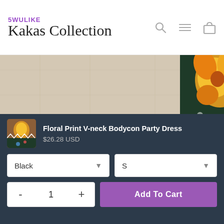5WULIKE Kakas Collection
[Figure (photo): Mannequin wearing a floral print bodycon party dress against a wooden wall background. The dress is dark/black with orange/yellow floral pattern and decorative border.]
Floral Print V-neck Bodycon Party Dress
$26.28 USD
Black
S
- 1 +
Add To Cart